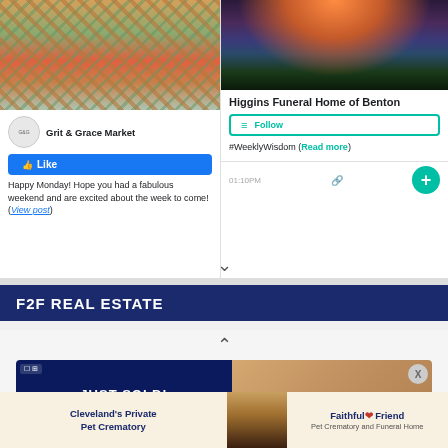[Figure (screenshot): Left card: photo of colorful yarn/fabric products on wooden surface, with Grit & Grace Market Facebook page card showing Like button and post excerpt]
Grit & Grace Market
Happy Monday! Hope you had a fabulous weekend and are excited about the week to come! (View post)
[Figure (screenshot): Right card: mountain lake scenic photo at sunset, Higgins Funeral Home of Benton page with Follow button and #WeeklyWisdom text]
Higgins Funeral Home of Benton
#WeeklyWisdom (Read more)
01:10PM
F2F REAL ESTATE
[Figure (screenshot): Bottom section showing JUST SOLD! panel and house image, with X button]
[Figure (advertisement): Ad banner: Cleveland's Private Pet Crematory with dog photo and Faithful Friend Pet Crematory and Funeral Home logo]